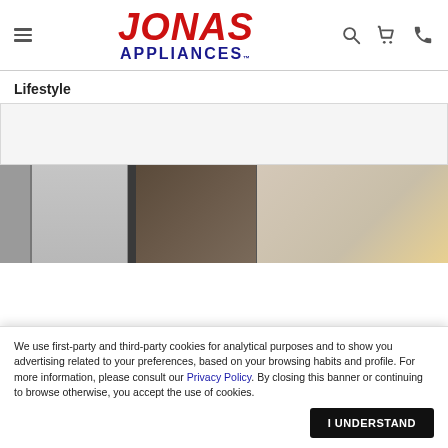[Figure (logo): Jonas Appliances logo with hamburger menu, search, cart, and phone icons in header navigation]
Lifestyle
[Figure (photo): Interior showroom photo showing refrigerators and kitchen appliances in various finishes]
We use first-party and third-party cookies for analytical purposes and to show you advertising related to your preferences, based on your browsing habits and profile. For more information, please consult our Privacy Policy. By closing this banner or continuing to browse otherwise, you accept the use of cookies.
I UNDERSTAND